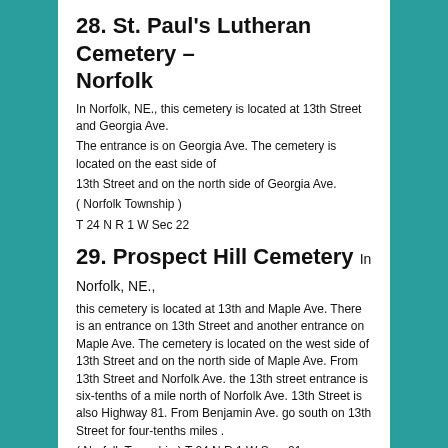28. St. Paul's Lutheran Cemetery – Norfolk
In Norfolk, NE., this cemetery is located at 13th Street and Georgia Ave.
The entrance is on Georgia Ave. The cemetery is located on the east side of
13th Street and on the north side of Georgia Ave.
( Norfolk Township )
T 24 N R 1 W Sec 22
29. Prospect Hill Cemetery
In Norfolk, NE., this cemetery is located at 13th and Maple Ave. There is an entrance on 13th Street and another entrance on Maple Ave. The cemetery is located on the west side of 13th Street and on the north side of Maple Ave. From 13th Street and Norfolk Ave. the 13th street entrance is six-tenths of a mile north of Norfolk Ave. 13th Street is also Highway 81. From Benjamin Ave. go south on 13th Street for four-tenths miles .
( Norfolk Township ) T 24 N R 1 W Sec. 21